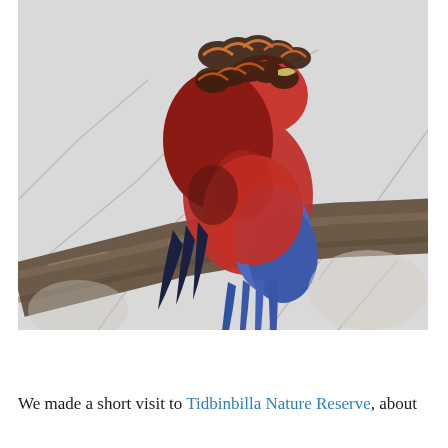[Figure (photo): A crimson rosella parrot perched on a tree branch, viewed from below. The bird has vivid red-crimson plumage on its body and head, with blue wing and tail feathers and dark scalloped markings on its back. It appears to be preening or looking downward. The background shows bare winter tree branches against a pale grey-white sky.]
We made a short visit to Tidbinbilla Nature Reserve, about